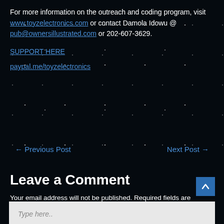For more information on the outreach and coding program, visit www.toyzelectronics.com or contact Damola Idowu @ pub@ownersillustrated.com or 202-607-3629.
SUPPORT HERE
paypal.me/toyzelectronics
← Previous Post
Next Post →
Leave a Comment
Your email address will not be published. Required fields are marked *